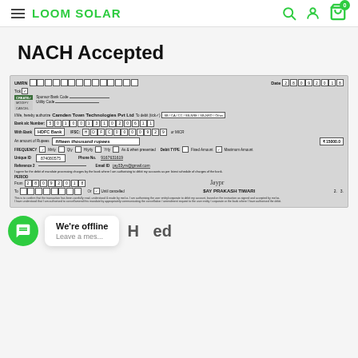LOOM SOLAR
NACH Accepted
[Figure (photo): Scanned NACH mandate form for Camden Town Technologies Pvt Ltd. Bank: HDFC Bank, IFSC: HDFC0000929, Account Number: 50100131020611, Amount: fifteen thousand rupees (₹15000.0), Frequency: Monthly, Unique ID: 874080575, Phone: 9167631619, Email: jay33yrs@gmail.com, Reference 2 shown, Period From: 28/09/2018, Signed by JAY PRAKASH TIWARI, Till: Until Cancelled checkbox checked.]
We're offline
Leave a mes...
H...ed